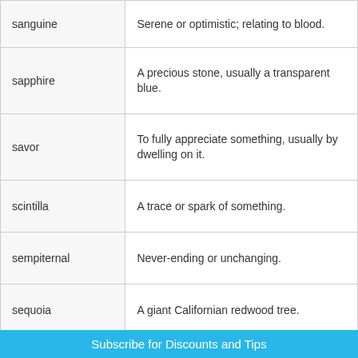| Term | Definition |
| --- | --- |
| sanguine | Serene or optimistic; relating to blood. |
| sapphire | A precious stone, usually a transparent blue. |
| savor | To fully appreciate something, usually by dwelling on it. |
| scintilla | A trace or spark of something. |
| sempiternal | Never-ending or unchanging. |
| sequoia | A giant Californian redwood tree. |
| seraglio | A large harem, often serving royalty. |
| serendipity | The chance occurrence of positive events. |
| serenity | The state of being calm and composed. |
Subscribe for Discounts and Tips